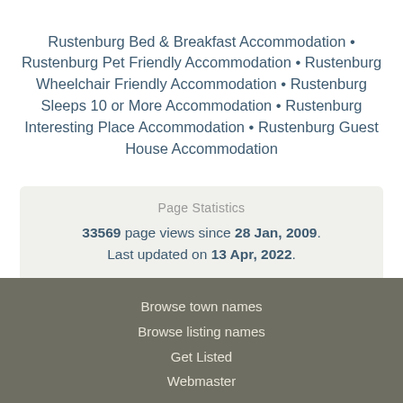Rustenburg Bed & Breakfast Accommodation • Rustenburg Pet Friendly Accommodation • Rustenburg Wheelchair Friendly Accommodation • Rustenburg Sleeps 10 or More Accommodation • Rustenburg Interesting Place Accommodation • Rustenburg Guest House Accommodation
Page Statistics
33569 page views since 28 Jan, 2009. Last updated on 13 Apr, 2022.
[Figure (logo): WhereToStay.co.za sunflower badge logo with text 'WWW.WHERETOSTAY.CO.ZA' and 'JOINED 2009']
Browse town names
Browse listing names
Get Listed
Webmaster